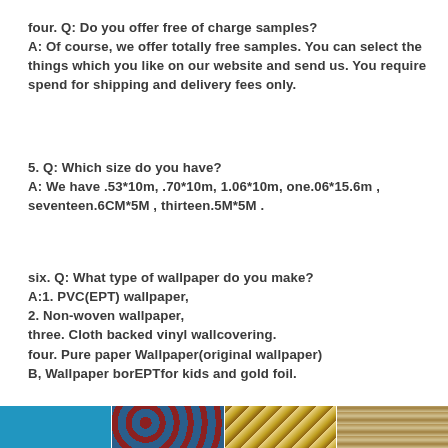four. Q: Do you offer free of charge samples?
A: Of course, we offer totally free samples. You can select the things which you like on our website and send us. You require spend for shipping and delivery fees only.
5. Q: Which size do you have?
A: We have .53*10m, .70*10m, 1.06*10m, one.06*15.6m , seventeen.6CM*5M , thirteen.5M*5M .
six. Q: What type of wallpaper do you make?
A:1. PVC(EPT) wallpaper,
2. Non-woven wallpaper,
three. Cloth backed vinyl wallcovering.
four. Pure paper Wallpaper(original wallpaper)
B, Wallpaper borEPTfor kids and gold foil.
[Figure (photo): Strip of four wallpaper sample images at the bottom of the page]